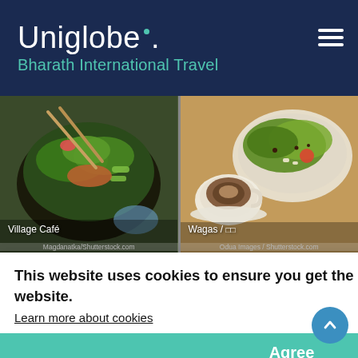Uniglobe. Bharath International Travel
[Figure (photo): Bowl of food with greens and vegetables (Village Café). Photo credit: Magdanatka/Shutterstock.com]
[Figure (photo): Salad bowl with coffee cup (Wagas). Photo credit: Odua Images / Shutterstock.com]
This website uses cookies to ensure you get the best experience on our website.
Learn more about cookies
Agree
[Figure (photo): Fu San / coffee shop with dark decor]
[Figure (photo): Iced drink with red straw in glass]